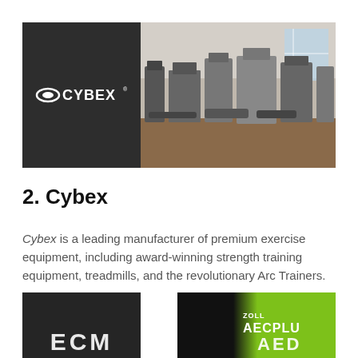[Figure (photo): Cybex logo on dark background (left) alongside gym interior showing fitness equipment (right). Wide banner image.]
2. Cybex
Cybex is a leading manufacturer of premium exercise equipment, including award-winning strength training equipment, treadmills, and the revolutionary Arc Trainers.
[Figure (photo): Dark background thumbnail showing partial ECM text/logo at bottom]
[Figure (photo): ZOLL AECPlus AED device in green/black bag]